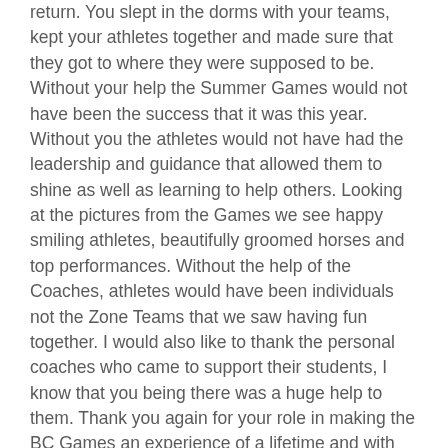return. You slept in the dorms with your teams, kept your athletes together and made sure that they got to where they were supposed to be. Without your help the Summer Games would not have been the success that it was this year. Without you the athletes would not have had the leadership and guidance that allowed them to shine as well as learning to help others. Looking at the pictures from the Games we see happy smiling athletes, beautifully groomed horses and top performances. Without the help of the Coaches, athletes would have been individuals not the Zone Teams that we saw having fun together. I would also like to thank the personal coaches who came to support their students, I know that you being there was a huge help to them. Thank you again for your role in making the BC Games an experience of a lifetime and with hard work, perhaps a stepping stone to bigger and higher podiums.